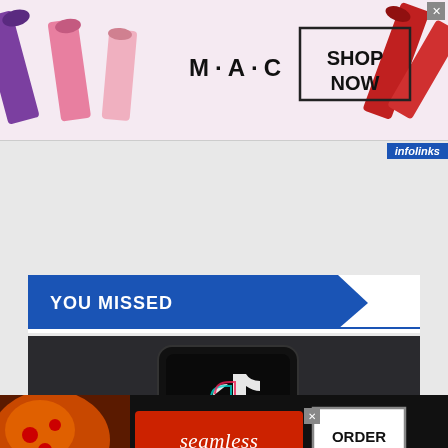[Figure (photo): MAC Cosmetics advertisement banner showing lipsticks with SHOP NOW button and MAC logo]
[Figure (photo): infolinks label in blue at top right]
YOU MISSED
[Figure (photo): Dark background with TikTok logo on a smartphone, article image]
TECH
TikTok Responds to Reports
[Figure (photo): Seamless food delivery advertisement with pizza, seamless logo and ORDER NOW button]